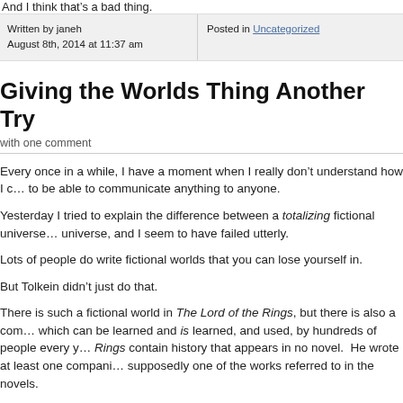And I think that's a bad thing.
Written by janeh
August 8th, 2014 at 11:37 am
Posted in Uncategorized
Giving the Worlds Thing Another Try
with one comment
Every once in a while, I have a moment when I really don't understand how I c... to be able to communicate anything to anyone.
Yesterday I tried to explain the difference between a totalizing fictional universe... universe, and I seem to have failed utterly.
Lots of people do write fictional worlds that you can lose yourself in.
But Tolkein didn't just do that.
There is such a fictional world in The Lord of the Rings, but there is also a com... which can be learned and is learned, and used, by hundreds of people every y... Rings contain history that appears in no novel.  He wrote at least one compani... supposedly one of the works referred to in the novels.
He didn't just write a novel that gives the reader the allusion, for a time, that he...